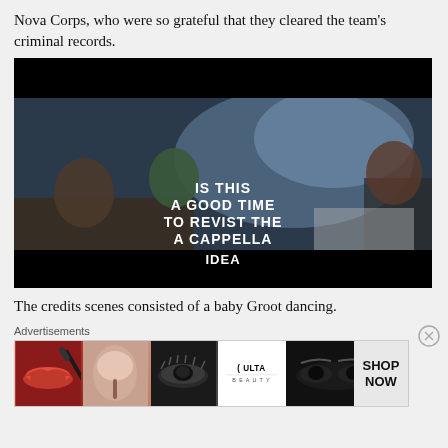Nova Corps, who were so grateful that they cleared the team's criminal records.
[Figure (screenshot): Movie screenshot from Guardians of the Galaxy showing characters in a spaceship cockpit with white subtitle text overlay reading 'IS THIS A GOOD TIME TO REVIST THE A CAPPELLA GROUP IDEA']
The credits scenes consisted of a baby Groot dancing.
Advertisements
[Figure (photo): Ulta Beauty advertisement banner showing makeup images including lips, brush, eye, Ulta logo, and eyes, with SHOP NOW text]